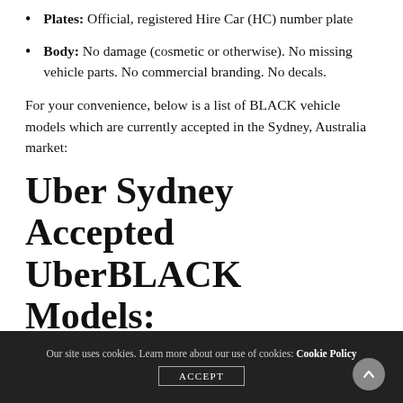Plates: Official, registered Hire Car (HC) number plate
Body: No damage (cosmetic or otherwise). No missing vehicle parts. No commercial branding. No decals.
For your convenience, below is a list of BLACK vehicle models which are currently accepted in the Sydney, Australia market:
Uber Sydney Accepted UberBLACK Models:
Audi A6,
Our site uses cookies. Learn more about our use of cookies: Cookie Policy  ACCEPT